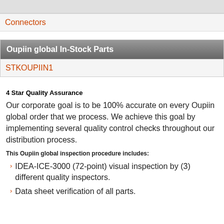Connectors
Oupiin global In-Stock Parts
STKOUPIIN1
4 Star Quality Assurance
Our corporate goal is to be 100% accurate on every Oupiin global order that we process. We achieve this goal by implementing several quality control checks throughout our distribution process.
This Oupiin global inspection procedure includes:
IDEA-ICE-3000 (72-point) visual inspection by (3) different quality inspectors.
Data sheet verification of all parts.